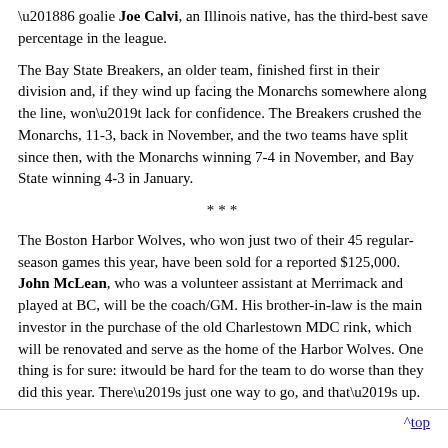'86 goalie Joe Calvi, an Illinois native, has the third-best save percentage in the league.
The Bay State Breakers, an older team, finished first in their division and, if they wind up facing the Monarchs somewhere along the line, won't lack for confidence. The Breakers crushed the Monarchs, 11-3, back in November, and the two teams have split since then, with the Monarchs winning 7-4 in November, and Bay State winning 4-3 in January.
***
The Boston Harbor Wolves, who won just two of their 45 regular-season games this year, have been sold for a reported $125,000. John McLean, who was a volunteer assistant at Merrimack and played at BC, will be the coach/GM. His brother-in-law is the main investor in the purchase of the old Charlestown MDC rink, which will be renovated and serve as the home of the Harbor Wolves. One thing is for sure: itwould be hard for the team to do worse than they did this year. There's just one way to go, and that's up.
^top